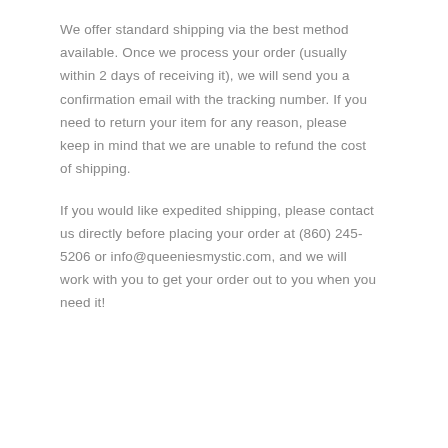We offer standard shipping via the best method available. Once we process your order (usually within 2 days of receiving it), we will send you a confirmation email with the tracking number. If you need to return your item for any reason, please keep in mind that we are unable to refund the cost of shipping.
If you would like expedited shipping, please contact us directly before placing your order at (860) 245-5206 or info@queeniesmystic.com, and we will work with you to get your order out to you when you need it!